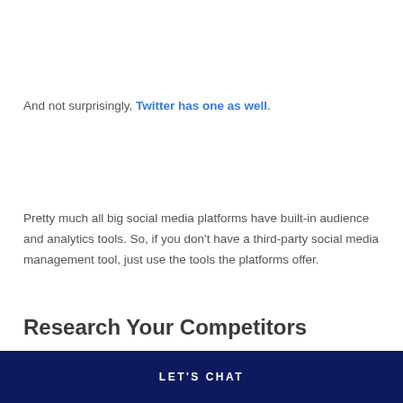And not surprisingly, Twitter has one as well.
Pretty much all big social media platforms have built-in audience and analytics tools. So, if you don't have a third-party social media management tool, just use the tools the platforms offer.
Research Your Competitors
LET'S CHAT